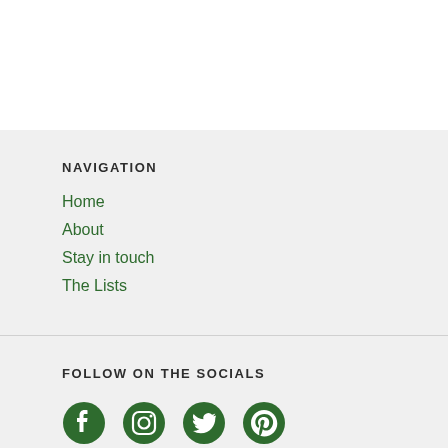NAVIGATION
Home
About
Stay in touch
The Lists
FOLLOW ON THE SOCIALS
[Figure (illustration): Four social media icons: Facebook, Instagram, Twitter, Pinterest, all in dark green color]